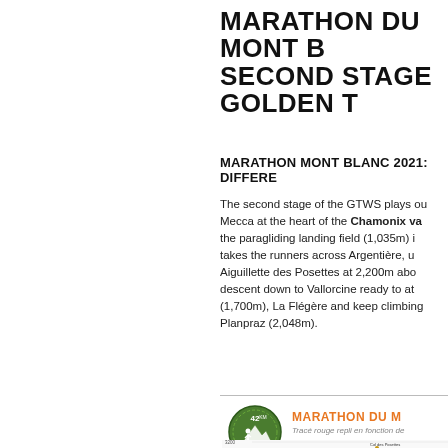MARATHON DU MONT BLANC - SECOND STAGE GOLDEN T...
MARATHON MONT BLANC 2021: DIFFERE...
The second stage of the GTWS plays out at a true trail running Mecca at the heart of the Chamonix valley. Starting from the paragliding landing field (1,035m) in Chamonix, the course takes the runners across Argentière, up to the summit of the Aiguillette des Posettes at 2,200m above sea level, before a long descent down to Vallorcine ready to attack the Col des Montets (1,700m), La Flégère and keep climbing to the final summit of Planpraz (2,048m).
[Figure (other): Marathon du Mont Blanc 42km badge logo (green circular badge with mountain illustration)]
[Figure (area-chart): Elevation profile chart of the Marathon du Mont Blanc course showing altitude in meters vs distance, with peaks including Col des Posettes at 3200m area and other labeled waypoints]